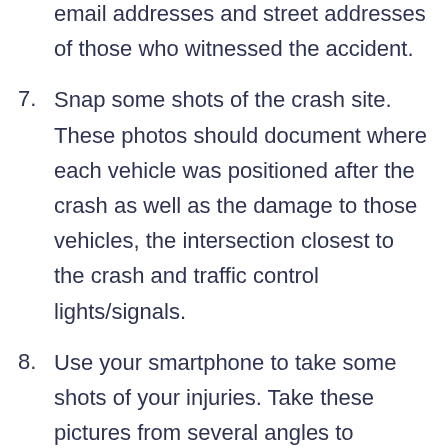6. Collect the names and phone numbers, email addresses and street addresses of those who witnessed the accident.
7. Snap some shots of the crash site. These photos should document where each vehicle was positioned after the crash as well as the damage to those vehicles, the intersection closest to the crash and traffic control lights/signals.
8. Use your smartphone to take some shots of your injuries. Take these pictures from several angles to document the full extent of your injuries.
Contact our legal team for a no-cost,